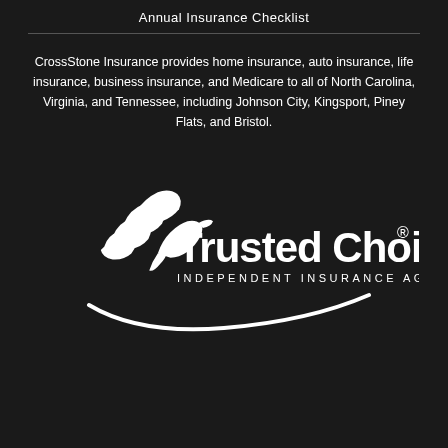Annual Insurance Checklist
CrossStone Insurance provides home insurance, auto insurance, life insurance, business insurance, and Medicare to all of North Carolina, Virginia, and Tennessee, including Johnson City, Kingsport, Piney Flats, and Bristol.
[Figure (logo): Trusted Choice Independent Insurance Agents logo — white eagle/bird graphic with curved swoosh below, bold text 'Trusted Choice' with registered trademark symbol, subtitle 'INDEPENDENT INSURANCE AGENTS']